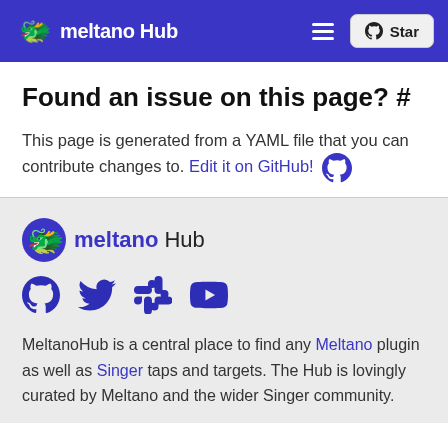meltano Hub  ☰  ⭐ Star
Found an issue on this page? #
This page is generated from a YAML file that you can contribute changes to. Edit it on GitHub! 🐙
[Figure (logo): Meltano Hub footer logo with icon]
[Figure (infographic): Social media icons: GitHub, Twitter, Slack, YouTube in dark blue]
MeltanoHub is a central place to find any Meltano plugin as well as Singer taps and targets. The Hub is lovingly curated by Meltano and the wider Singer community.